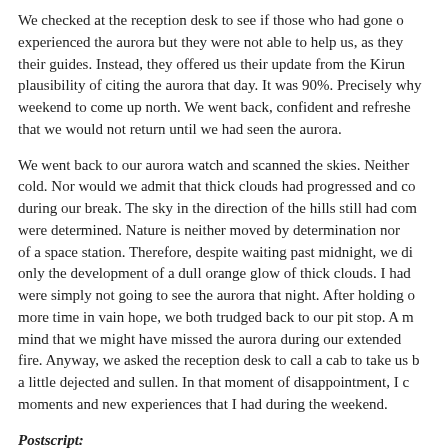We checked at the reception desk to see if those who had gone out experienced the aurora but they were not able to help us, as they their guides. Instead, they offered us their update from the Kirun plausibility of citing the aurora that day. It was 90%. Precisely why weekend to come up north. We went back, confident and refreshe that we would not return until we had seen the aurora.
We went back to our aurora watch and scanned the skies. Neither cold. Nor would we admit that thick clouds had progressed and co during our break. The sky in the direction of the hills still had com were determined. Nature is neither moved by determination nor of a space station. Therefore, despite waiting past midnight, we di only the development of a dull orange glow of thick clouds. I had were simply not going to see the aurora that night. After holding more time in vain hope, we both trudged back to our pit stop. A m mind that we might have missed the aurora during our extended fire. Anyway, we asked the reception desk to call a cab to take us a little dejected and sullen. In that moment of disappointment, I moments and new experiences that I had during the weekend.
Postscript:
Often things in life do not happen when you want them to happen